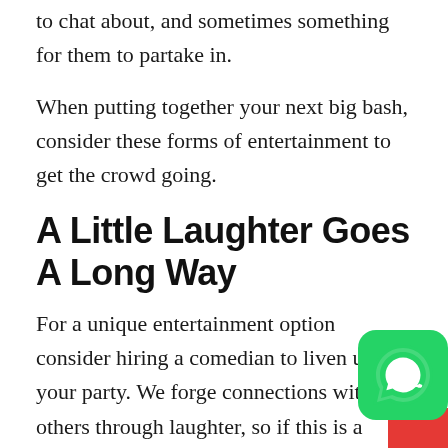to chat about, and sometimes something for them to partake in.
When putting together your next big bash, consider these forms of entertainment to get the crowd going.
A Little Laughter Goes A Long Way
For a unique entertainment option consider hiring a comedian to liven up your party. We forge connections with others through laughter, so if this is a soiree where some people are strangers to one another this be a great way to get them talking.
[Figure (logo): WhatsApp icon — green rounded square with white phone/chat logo, with red background element at bottom-right corner]